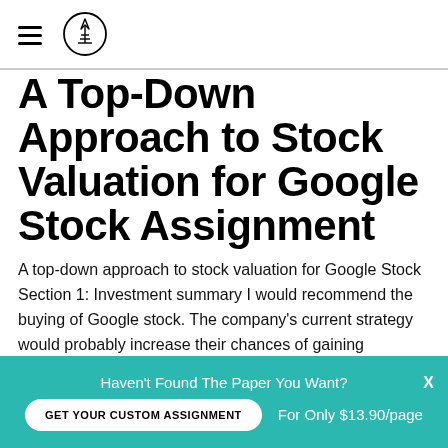[Hamburger menu icon] [Logo icon]
A Top-Down Approach to Stock Valuation for Google Stock Assignment
A top-down approach to stock valuation for Google Stock Section 1: Investment summary I would recommend the buying of Google stock. The company's current strategy would probably increase their chances of gaining
Haven't Found The Paper You Want? GET YOUR CUSTOM ASSIGNMENT  For Only $13.90/page  X